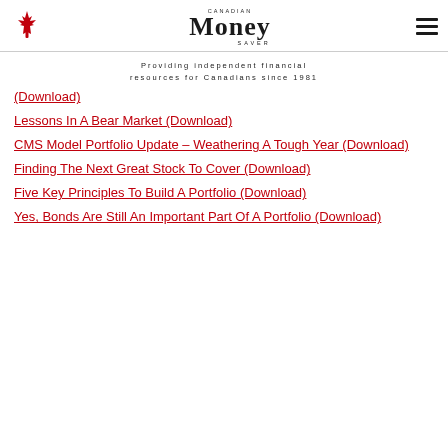Canadian Money Saver
Providing independent financial resources for Canadians since 1981
(Download)
Lessons In A Bear Market (Download)
CMS Model Portfolio Update – Weathering A Tough Year (Download)
Finding The Next Great Stock To Cover (Download)
Five Key Principles To Build A Portfolio (Download)
Yes, Bonds Are Still An Important Part Of A Portfolio (Download)